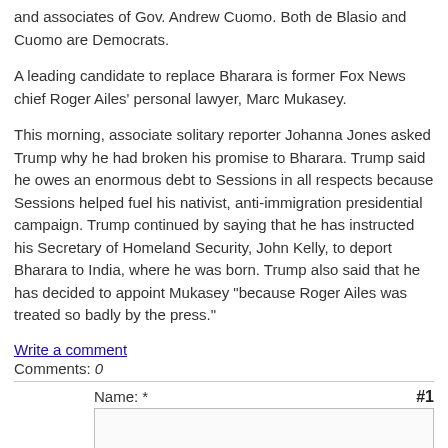and associates of Gov. Andrew Cuomo. Both de Blasio and Cuomo are Democrats.
A leading candidate to replace Bharara is former Fox News chief Roger Ailes' personal lawyer, Marc Mukasey.
This morning, associate solitary reporter Johanna Jones asked Trump why he had broken his promise to Bharara. Trump said he owes an enormous debt to Sessions in all respects because Sessions helped fuel his nativist, anti-immigration presidential campaign. Trump continued by saying that he has instructed his Secretary of Homeland Security, John Kelly, to deport Bharara to India, where he was born. Trump also said that he has decided to appoint Mukasey "because Roger Ailes was treated so badly by the press."
Write a comment
Comments: 0
#1
Name: *
Message: *